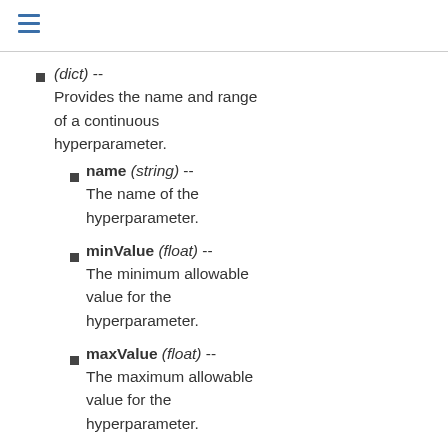(dict) -- Provides the name and range of a continuous hyperparameter.
name (string) -- The name of the hyperparameter.
minValue (float) -- The minimum allowable value for the hyperparameter.
maxValue (float) -- The maximum allowable value for the hyperparameter.
categoricalHyperParameterRanges